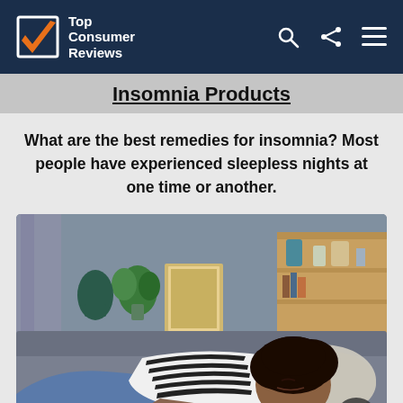Top Consumer Reviews
Insomnia Products
What are the best remedies for insomnia? Most people have experienced sleepless nights at one time or another.
[Figure (photo): A woman with curly hair lying on a gray couch, wearing a striped shirt and jeans, resting her head on a pillow with eyes closed, in a living room setting.]